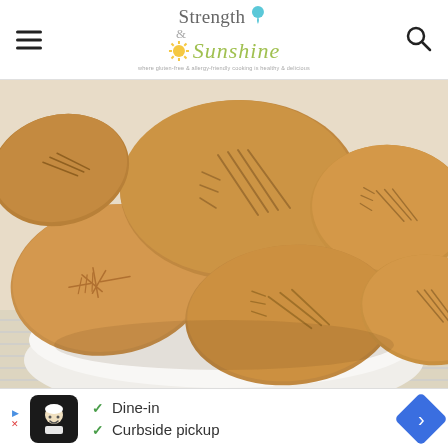Strength & Sunshine — where gluten-free & allergy-friendly cooking is healthy & delicious
[Figure (photo): Close-up photo of multiple peanut butter cookies with fork press marks arranged in a white bowl on a striped cloth]
[Figure (infographic): Advertisement banner showing a restaurant icon with checkmarks for Dine-in and Curbside pickup options]